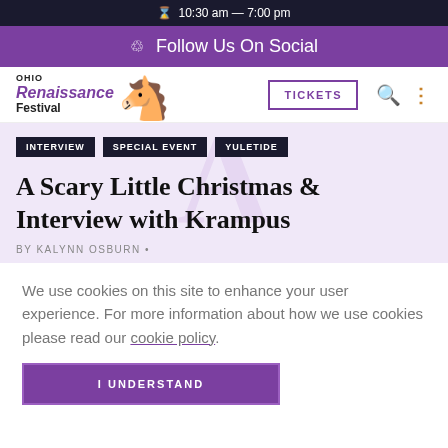10:30 am — 7:00 pm
Follow Us On Social
[Figure (logo): Ohio Renaissance Festival logo with orange knight on horseback]
INTERVIEW
SPECIAL EVENT
YULETIDE
A Scary Little Christmas & Interview with Krampus
BY KALYNN OSBURN •
We use cookies on this site to enhance your user experience. For more information about how we use cookies please read our cookie policy.
I UNDERSTAND